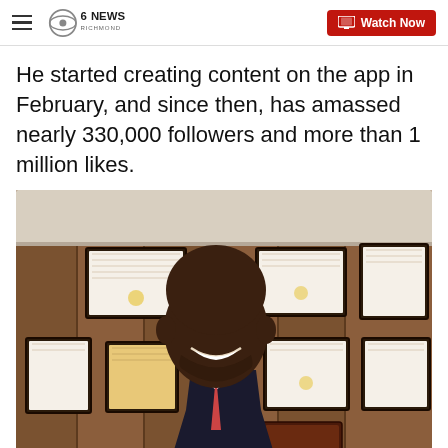CBS 6 NEWS RICHMOND | Watch Now
He started creating content on the app in February, and since then, has amassed nearly 330,000 followers and more than 1 million likes.
[Figure (photo): A smiling Black man in a suit seated in an office with framed diplomas and certificates on a wood-paneled wall behind him.]